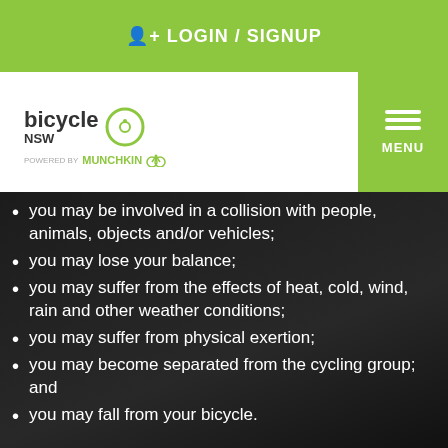LOGIN / SIGNUP
[Figure (logo): Bicycle NSW logo with green wheel icon, powered by Munchkin]
you may be involved in a collision with people, animals, objects and/or vehicles;
you may lose your balance;
you may suffer from the effects of heat, cold, wind, rain and other weather conditions;
you may suffer from physical exertion;
you may become separated from the cycling group; and
you may fall from your bicycle.
These risks may result in death, bodily injury, disability, property damage and economic loss. There are other risks to which you may be exposed. You should ensure that you wear appropriate